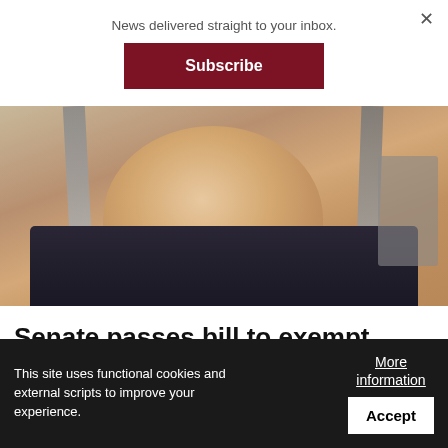News delivered straight to your inbox.
Subscribe
[Figure (photo): Close-up photo of a woman with long dark hair with gray streaks, wearing pink lipstick and a dark jacket, smiling at the camera. A person in the background on the right.]
Senate passes bill to exempt CPA's airport revenues from paying 1% OPA fee
This site uses functional cookies and external scripts to improve your experience.
More information
Accept